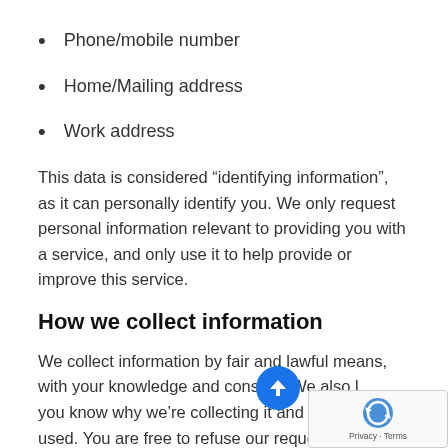Phone/mobile number
Home/Mailing address
Work address
This data is considered “identifying information”, as it can personally identify you. We only request personal information relevant to providing you with a service, and only use it to help provide or improve this service.
How we collect information
We collect information by fair and lawful means, with your knowledge and consent. We also let you know why we’re collecting it and how it will be used. You are free to refuse our request for information, with the understanding that we may be unable to provide you with some of your